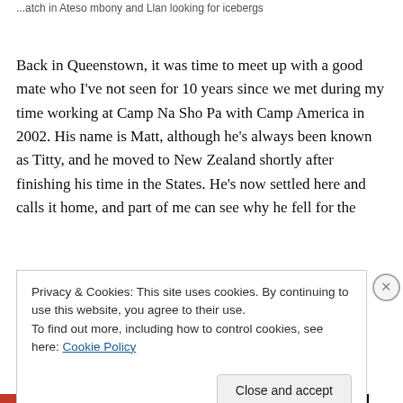...atch in Ateso mbony and Llan looking for icebergs
Back in Queenstown, it was time to meet up with a good mate who I've not seen for 10 years since we met during my time working at Camp Na Sho Pa with Camp America in 2002. His name is Matt, although he's always been known as Titty, and he moved to New Zealand shortly after finishing his time in the States. He's now settled here and calls it home, and part of me can see why he fell for the
Privacy & Cookies: This site uses cookies. By continuing to use this website, you agree to their use.
To find out more, including how to control cookies, see here: Cookie Policy
Close and accept